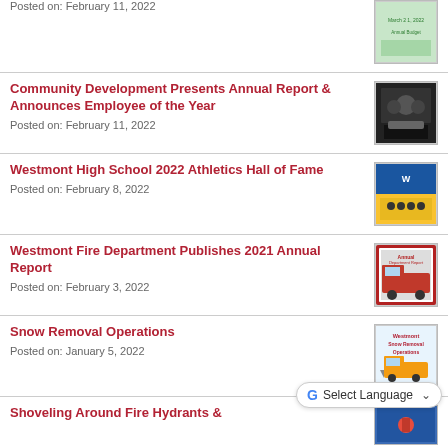Posted on: February 11, 2022
Community Development Presents Annual Report & Announces Employee of the Year
Posted on: February 11, 2022
Westmont High School 2022 Athletics Hall of Fame
Posted on: February 8, 2022
Westmont Fire Department Publishes 2021 Annual Report
Posted on: February 3, 2022
Snow Removal Operations
Posted on: January 5, 2022
Shoveling Around Fire Hydrants &